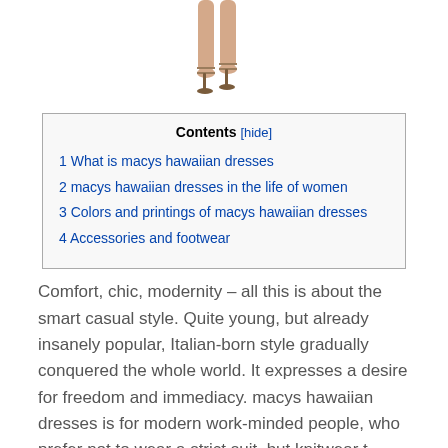[Figure (photo): Cropped photo of a woman's legs wearing strappy high-heel sandals, shown from thighs down on white background]
Contents [hide]
1 What is macys hawaiian dresses
2 macys hawaiian dresses in the life of women
3 Colors and printings of macys hawaiian dresses
4 Accessories and footwear
Comfort, chic, modernity – all this is about the smart casual style. Quite young, but already insanely popular, Italian-born style gradually conquered the whole world. It expresses a desire for freedom and immediacy. macys hawaiian dresses is for modern work-minded people, who prefer not to wear a strict suit, but knitwear t-shirts and